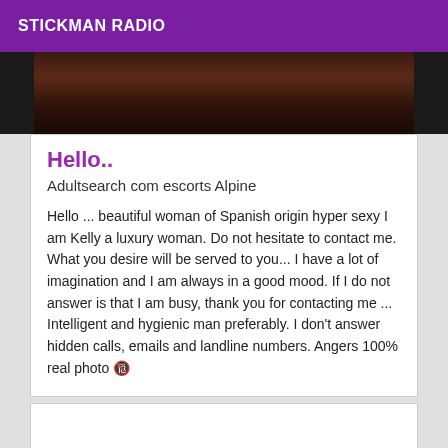STICKMAN RADIO
[Figure (photo): Dark photo strip showing partial view of a person in dark clothing]
Hello..
Adultsearch com escorts Alpine
Hello ... beautiful woman of Spanish origin hyper sexy I am Kelly a luxury woman. Do not hesitate to contact me. What you desire will be served to you... I have a lot of imagination and I am always in a good mood. If I do not answer is that I am busy, thank you for contacting me ... Intelligent and hygienic man preferably. I don't answer hidden calls, emails and landline numbers. Angers 100% real photo 🔞